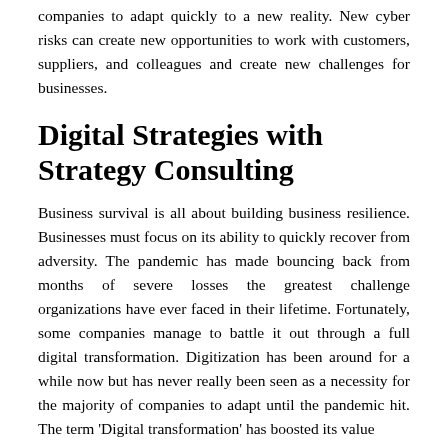companies to adapt quickly to a new reality. New cyber risks can create new opportunities to work with customers, suppliers, and colleagues and create new challenges for businesses.
Digital Strategies with Strategy Consulting
Business survival is all about building business resilience. Businesses must focus on its ability to quickly recover from adversity. The pandemic has made bouncing back from months of severe losses the greatest challenge organizations have ever faced in their lifetime. Fortunately, some companies manage to battle it out through a full digital transformation. Digitization has been around for a while now but has never really been seen as a necessity for the majority of companies to adapt until the pandemic hit. The term 'Digital transformation' has boosted its value